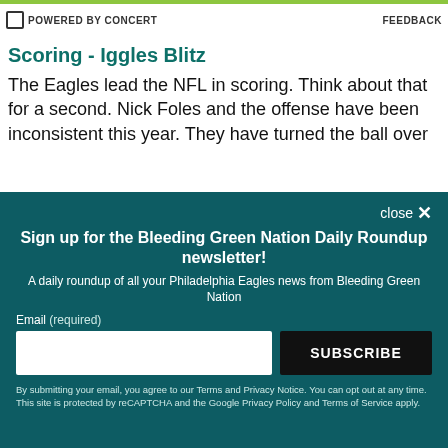POWERED BY CONCERT   FEEDBACK
Scoring - Iggles Blitz
The Eagles lead the NFL in scoring. Think about that for a second. Nick Foles and the offense have been inconsistent this year. They have turned the ball over
close ×
Sign up for the Bleeding Green Nation Daily Roundup newsletter!
A daily roundup of all your Philadelphia Eagles news from Bleeding Green Nation
Email (required)
SUBSCRIBE
By submitting your email, you agree to our Terms and Privacy Notice. You can opt out at any time. This site is protected by reCAPTCHA and the Google Privacy Policy and Terms of Service apply.